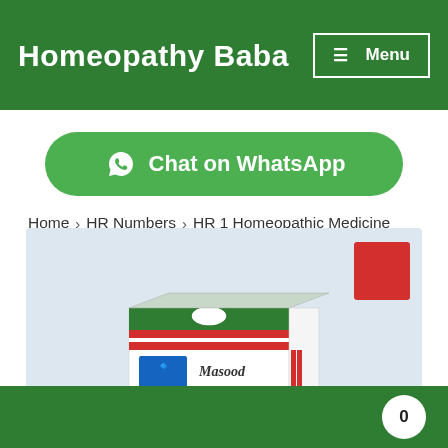Homeopathy Baba
[Figure (screenshot): Chat on WhatsApp button with WhatsApp logo icon, green rounded rectangle button]
Home › HR Numbers › HR 1 Homeopathic Medicine
[Figure (photo): Masood Homeopathic Remedy product box on light blue background with red badge in top right corner]